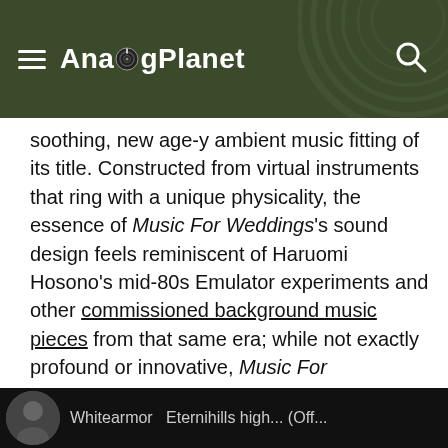AnalogPlanet
soothing, new age-y ambient music fitting of its title. Constructed from virtual instruments that ring with a unique physicality, the essence of Music For Weddings's sound design feels reminiscent of Haruomi Hosono's mid-80s Emulator experiments and other commissioned background music pieces from that same era; while not exactly profound or innovative, Music For Weddings's simplicity is peaceful and uplifting. It's an accessible and nice record that doesn't require thinking too hard about it, and is easily Whitearmor's best instrumental project yet.
Whitearmor — Eternihills high... (Off...